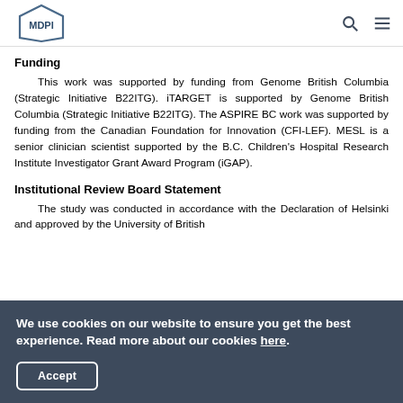MDPI
Funding
This work was supported by funding from Genome British Columbia (Strategic Initiative B22ITG). iTARGET is supported by Genome British Columbia (Strategic Initiative B22ITG). The ASPIRE BC work was supported by funding from the Canadian Foundation for Innovation (CFI-LEF). MESL is a senior clinician scientist supported by the B.C. Children's Hospital Research Institute Investigator Grant Award Program (iGAP).
Institutional Review Board Statement
The study was conducted in accordance with the Declaration of Helsinki and approved by the University of British
We use cookies on our website to ensure you get the best experience. Read more about our cookies here.